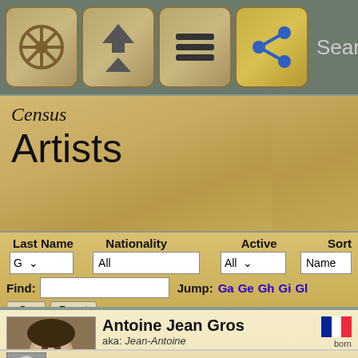Navigation bar with icons: wheel, home/up, menu, share. Search field.
Census
Artists
Last Name | Nationality | Active | Sort
Find: [input]  Jump: Ga Ge Gh Gi Gl
Antoine Jean Gros aka: Jean-Antoine born 1771, M — a French history and neoclassical painter. Born in Paris, C draw at the age of six from his father, who was a miniatur himself as a gifted artist. Towards the close of 1785, Gros entered the studio of Jacques-Louis David, which he freq continuing at the same time to follow the c...
Links (1)
Cross-listed in Writers